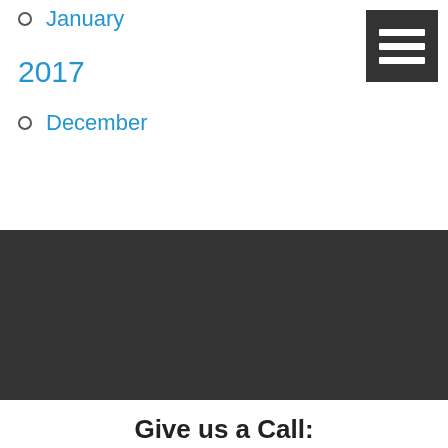January
2017
December
[Figure (other): Dark gray banner/navigation bar area]
Give us a Call:
(360) 529-4510
Working Hours:
Mon – Fri: 8:00 AM – 5:00 PM